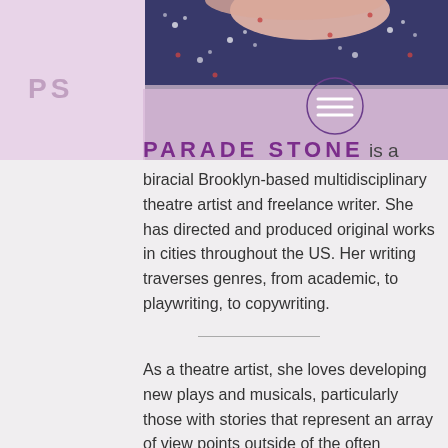[Figure (photo): Top portion of page showing a person in a dark navy floral dress with a pink/lavender background on the left side. The PS logo appears in lavender at top left, and a hamburger menu circle icon appears at top right.]
PARADE STONE is a biracial Brooklyn-based multidisciplinary theatre artist and freelance writer. She has directed and produced original works in cities throughout the US. Her writing traverses genres, from academic, to playwriting, to copywriting.
As a theatre artist, she loves developing new plays and musicals, particularly those with stories that represent an array of view points outside of the often homogeneous canon of American theatre.